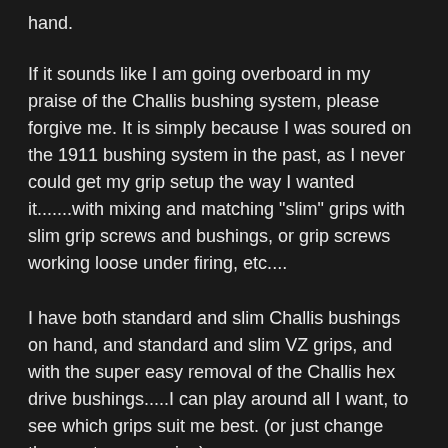hand.
If it sounds like I am going overboard in my praise of the Challis bushing system, please forgive me. It is simply because I was soured on the 1911 bushing system in the past, as I never could get my grip setup the way I wanted it.......with mixing and matching "slim" grips with slim grip screws and bushings, or grip screws working loose under firing, etc....
I have both standard and slim Challis bushings on hand, and standard and slim VZ grips, and with the super easy removal of the Challis hex drive bushings.....I can play around all I want, to see which grips suit me best. (or just change them out on occasion)
That's my story...what's yours?